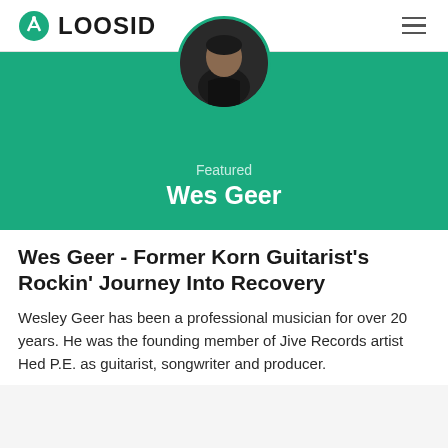LOOSID
[Figure (photo): Featured profile banner with teal/green background showing Wes Geer's circular portrait photo at top, 'Featured' label, and 'Wes Geer' name in white text]
Wes Geer - Former Korn Guitarist's Rockin' Journey Into Recovery
Wesley Geer has been a professional musician for over 20 years. He was the founding member of Jive Records artist Hed P.E. as guitarist, songwriter and producer.